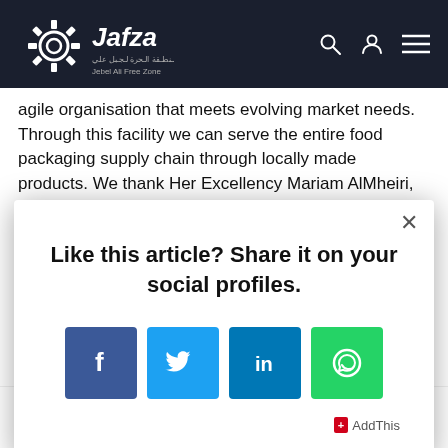Jafza — Jebel Ali Free Zone
agile organisation that meets evolving market needs. Through this facility we can serve the entire food packaging supply chain through locally made products. We thank Her Excellency Mariam AlMheiri, His Excellency
Like this article? Share it on your social profiles.
[Figure (infographic): Social share buttons: Facebook, Twitter, LinkedIn, WhatsApp]
AddThis
Internationally, Jebel Ali holds 30 centuries of dominance and def…